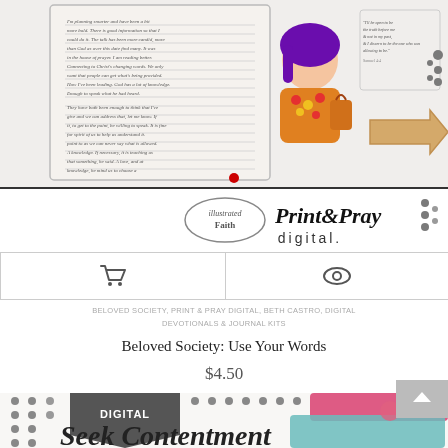[Figure (illustration): Product image showing a illustrated faith journal page with a cartoon woman with purple hair holding flowers, handwritten text, and an arrow. Illustrated Faith Print and Pray Digital logo visible.]
[Figure (logo): Illustrated Faith Print and Pray Digital logo with cursive/brush lettering and 'digital' text]
🛒  👁
BELOVED SOCIETY, PRINT & PRAY DIGITAL, BETH CASTRO, DIGITAL DEVOTIONALS & JOURNAL KITS
Beloved Society: Use Your Words
$4.50
[Figure (illustration): Bottom of next product card showing 'Seek Contentment' text with teal and pink paint brush strokes and a DIGITAL badge with dots decoration]